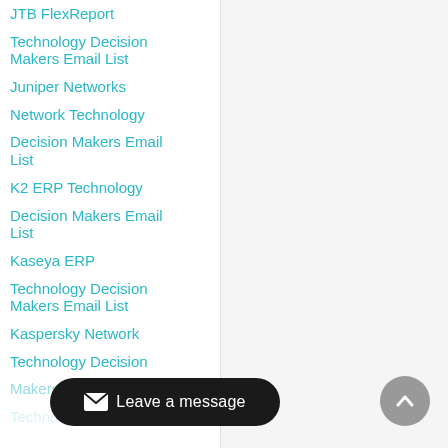JTB FlexReport
Technology Decision Makers Email List
Juniper Networks Network Technology Decision Makers Email List
K2 ERP Technology Decision Makers Email List
Kaseya ERP Technology Decision Makers Email List
Kaspersky Network Technology Decision Makers Email List